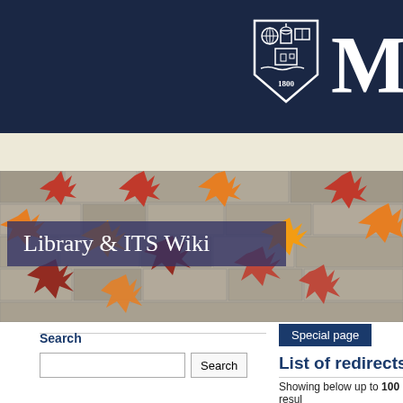[Figure (logo): University shield logo with globe, lighthouse, open book, and '1800', plus large letter M on dark navy background]
[Figure (photo): Banner photo of colorful autumn ivy leaves (red, orange, yellow) climbing a stone wall]
Library & ITS Wiki
Search
Special page
List of redirects
Showing below up to 100 resul